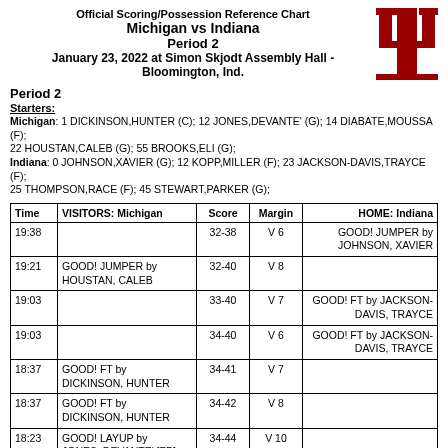Official Scoring/Possession Reference Chart
Michigan vs Indiana
Period 2
January 23, 2022 at Simon Skjodt Assembly Hall - Bloomington, Ind.
Period 2
Starters:
Michigan: 1 DICKINSON,HUNTER (C); 12 JONES,DEVANTE' (G); 14 DIABATE,MOUSSA (F); 22 HOUSTAN,CALEB (G); 55 BROOKS,ELI (G);
Indiana: 0 JOHNSON,XAVIER (G); 12 KOPP,MILLER (F); 23 JACKSON-DAVIS,TRAYCE (F); 25 THOMPSON,RACE (F); 45 STEWART,PARKER (G);
| Time | VISITORS: Michigan | Score | Margin | HOME: Indiana |
| --- | --- | --- | --- | --- |
| 19:38 |  | 32-38 | V 6 | GOOD! JUMPER by JOHNSON, XAVIER |
| 19:21 | GOOD! JUMPER by HOUSTAN, CALEB | 32-40 | V 8 |  |
| 19:03 |  | 33-40 | V 7 | GOOD! FT by JACKSON-DAVIS, TRAYCE |
| 19:03 |  | 34-40 | V 6 | GOOD! FT by JACKSON-DAVIS, TRAYCE |
| 18:37 | GOOD! FT by DICKINSON, HUNTER | 34-41 | V 7 |  |
| 18:37 | GOOD! FT by DICKINSON, HUNTER | 34-42 | V 8 |  |
| 18:23 | GOOD! LAYUP by JONES, DEVANTE' [FB] | 34-44 | V 10 |  |
| 18:23 | GOOD! FT by JONES, | 34-45 | V 11 |  |